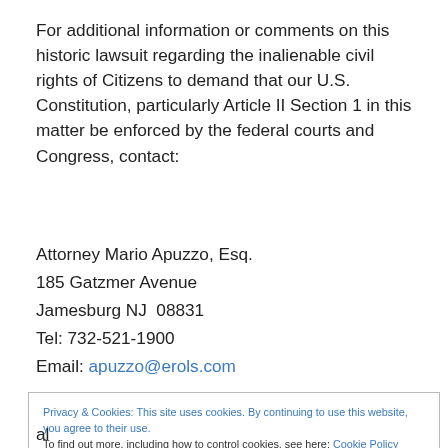For additional information or comments on this historic lawsuit regarding the inalienable civil rights of Citizens to demand that our U.S. Constitution, particularly Article II Section 1 in this matter be enforced by the federal courts and Congress, contact:
Attorney Mario Apuzzo, Esq.
185 Gatzmer Avenue
Jamesburg NJ  08831
Tel: 732-521-1900
Email: apuzzo@erols.com
Privacy & Cookies: This site uses cookies. By continuing to use this website, you agree to their use.
To find out more, including how to control cookies, see here: Cookie Policy
Close and accept
al